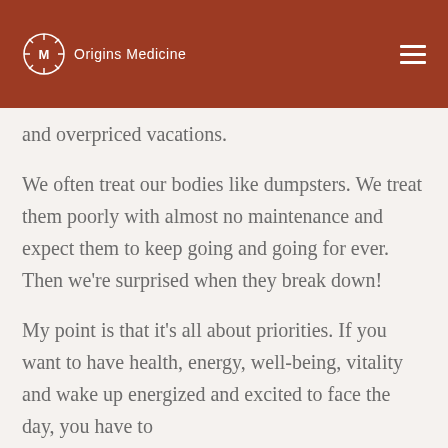Origins Medicine
…paying your premiums and overpriced vacations.
We often treat our bodies like dumpsters. We treat them poorly with almost no maintenance and expect them to keep going and going for ever. Then we're surprised when they break down!
My point is that it's all about priorities. If you want to have health, energy, well-being, vitality and wake up energized and excited to face the day, you have to be willing to invest in it. I can't think of a